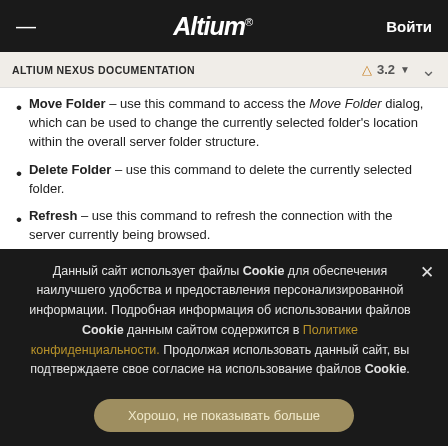≡  Altium®  Войти
ALTIUM NEXUS DOCUMENTATION  ⚠ 3.2 ▾  ∨
Move Folder – use this command to access the Move Folder dialog, which can be used to change the currently selected folder's location within the overall server folder structure.
Delete Folder – use this command to delete the currently selected folder.
Refresh – use this command to refresh the connection with the server currently being browsed.
Данный сайт использует файлы Cookie для обеспечения наилучшего удобства и предоставления персонализированной информации. Подробная информация об использовании файлов Cookie данным сайтом содержится в Политике конфиденциальности. Продолжая использовать данный сайт, вы подтверждаете свое согласие на использование файлов Cookie.
Хорошо, не показывать больше